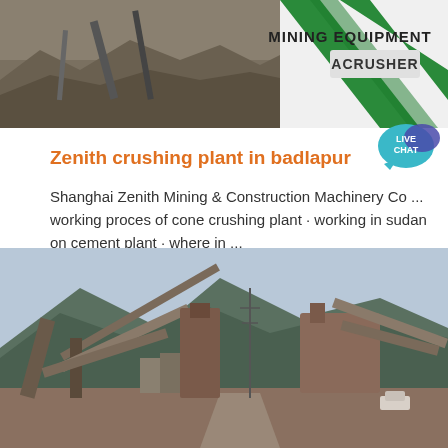[Figure (photo): Mining equipment / crusher site banner photo with 'MINING EQUIPMENT ACRUSHER' logo on right side]
[Figure (infographic): Live Chat speech bubble icon in blue/teal]
Zenith crushing plant in badlapur
Shanghai Zenith Mining & Construction Machinery Co ... working proces of cone crushing plant · working in sudan on cement plant · where in ...
Learn More →
[Figure (photo): Outdoor photograph of a large mining/crushing plant with conveyor belts and machinery, mountains in background]